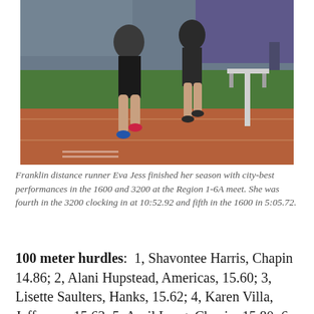[Figure (photo): Two runners on a red track at a stadium, one in dark shorts and a gray shirt, another in dark shorts. A hurdle is visible on the right side of the track with green field and stands in the background.]
Franklin distance runner Eva Jess finished her season with city-best performances in the 1600 and 3200 at the Region 1-6A meet. She was fourth in the 3200 clocking in at 10:52.92 and fifth in the 1600 in 5:05.72.
100 meter hurdles:  1, Shavontee Harris, Chapin 14.86; 2, Alani Hupstead, Americas, 15.60; 3, Lisette Saulters, Hanks, 15.62; 4, Karen Villa, Jefferson, 15.63; 5, April Lang, Chapin, 15.80; 6, Jeramea Dennison, El Dorado, 15.97; 7, Megan Barnhouse, Eastwood, 16.47; 8, Amethyst Massaquoi, Franklin, 16.58; 9, Emily